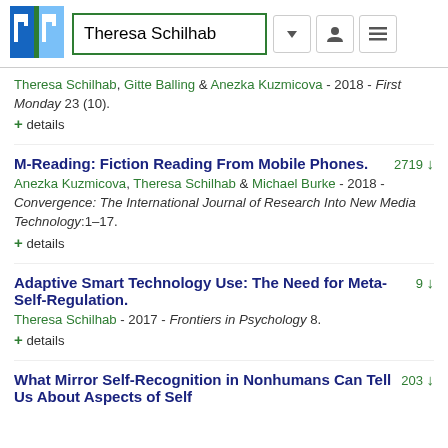Theresa Schilhab
Theresa Schilhab, Gitte Balling & Anezka Kuzmicova - 2018 - First Monday 23 (10).
+ details
M-Reading: Fiction Reading From Mobile Phones.
Anezka Kuzmicova, Theresa Schilhab & Michael Burke - 2018 - Convergence: The International Journal of Research Into New Media Technology:1–17.
+ details
Adaptive Smart Technology Use: The Need for Meta-Self-Regulation.
Theresa Schilhab - 2017 - Frontiers in Psychology 8.
+ details
What Mirror Self-Recognition in Nonhumans Can Tell Us About Aspects of Self